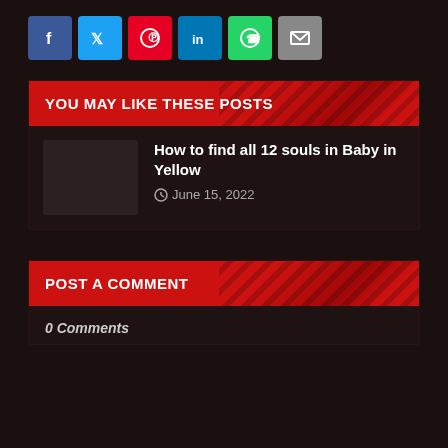[Figure (other): Social share buttons row: Facebook (blue), Twitter (cyan), Pinterest (red), LinkedIn (blue), WhatsApp (green), Email (gray)]
YOU MAY LIKE THESE POSTS
How to find all 12 souls in Baby in Yellow
June 15, 2022
POST A COMMENT
0 Comments